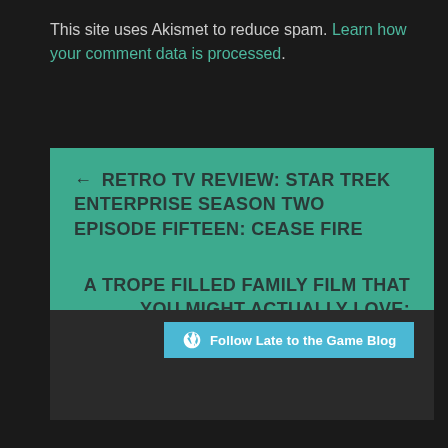This site uses Akismet to reduce spam. Learn how your comment data is processed.
← RETRO TV REVIEW: STAR TREK ENTERPRISE SEASON TWO EPISODE FIFTEEN: CEASE FIRE
A TROPE FILLED FAMILY FILM THAT YOU MIGHT ACTUALLY LOVE: PROJECT PAY DAY (2020) →
Follow Late to the Game Blog